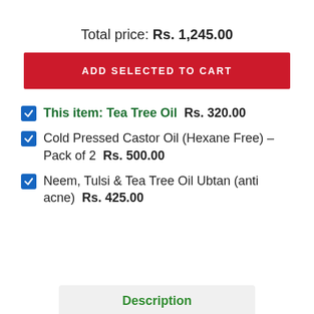Total price: Rs. 1,245.00
ADD SELECTED TO CART
This item: Tea Tree Oil  Rs. 320.00
Cold Pressed Castor Oil (Hexane Free) – Pack of 2  Rs. 500.00
Neem, Tulsi & Tea Tree Oil Ubtan (anti acne)  Rs. 425.00
Description